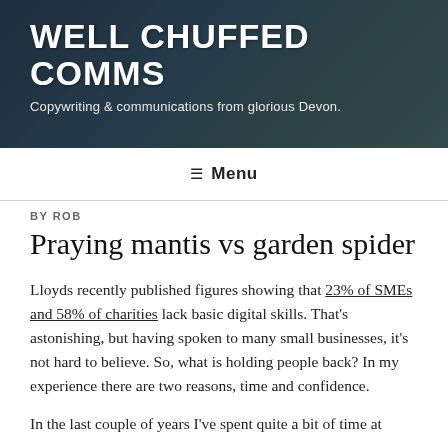WELL CHUFFED COMMS
Copywriting & communications from glorious Devon.
≡ Menu
BY ROB
Praying mantis vs garden spider
Lloyds recently published figures showing that 23% of SMEs and 58% of charities lack basic digital skills. That's astonishing, but having spoken to many small businesses, it's not hard to believe. So, what is holding people back? In my experience there are two reasons, time and confidence.
In the last couple of years I've spent quite a bit of time at